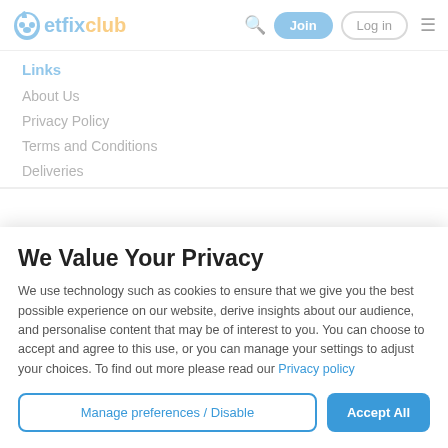PetfixClub — Join | Log in
Links
About Us
Privacy Policy
Terms and Conditions
Deliveries
We Value Your Privacy
We use technology such as cookies to ensure that we give you the best possible experience on our website, derive insights about our audience, and personalise content that may be of interest to you. You can choose to accept and agree to this use, or you can manage your settings to adjust your choices. To find out more please read our Privacy policy